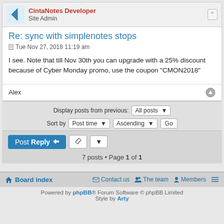CintaNotes Developer
Site Admin
Re: sync with simplenotes stops
Tue Nov 27, 2018 11:19 am
I see. Note that till Nov 30th you can upgrade with a 25% discount because of Cyber Monday promo, use the coupon "CMON2018"
Alex
Display posts from previous: All posts
Sort by: Post time   Ascending   Go
Post Reply
7 posts • Page 1 of 1
Board index   Contact us   The team   Members
Powered by phpBB® Forum Software © phpBB Limited
Style by Arty